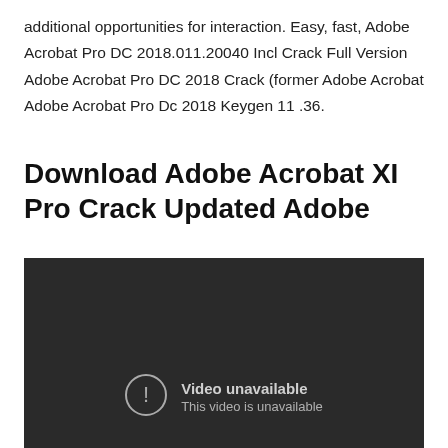additional opportunities for interaction. Easy, fast, Adobe Acrobat Pro DC 2018.011.20040 Incl Crack Full Version Adobe Acrobat Pro DC 2018 Crack (former Adobe Acrobat Adobe Acrobat Pro Dc 2018 Keygen 11 .36.
Download Adobe Acrobat XI Pro Crack Updated Adobe
[Figure (screenshot): Embedded video player showing 'Video unavailable — This video is unavailable' error message on a dark background.]